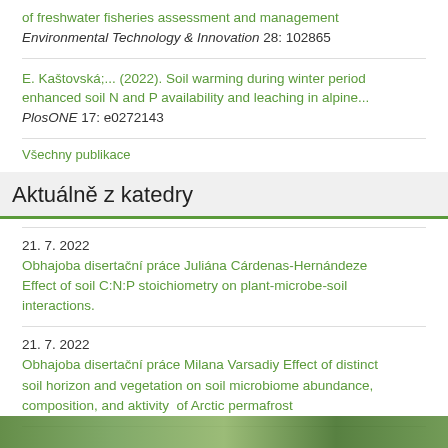of freshwater fisheries assessment and management Environmental Technology & Innovation 28: 102865
E. Kaštovská;... (2022). Soil warming during winter period enhanced soil N and P availability and leaching in alpine... PlosONE 17: e0272143
Všechny publikace
Aktuálně z katedry
21. 7. 2022
Obhajoba disertační práce Juliána Cárdenas-Hernándeze Effect of soil C:N:P stoichiometry on plant-microbe-soil interactions.
21. 7. 2022
Obhajoba disertační práce Milana Varsadiy Effect of distinct soil horizon and vegetation on soil microbiome abundance, composition, and aktivity  of Arctic permafrost
[Figure (photo): Footer image strip showing green/nature photo]